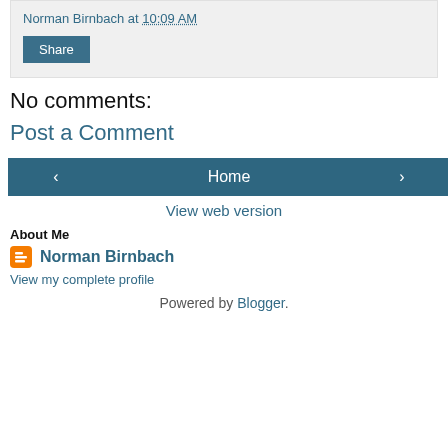Norman Birnbach at 10:09 AM
Share
No comments:
Post a Comment
‹  Home  ›
View web version
About Me
Norman Birnbach
View my complete profile
Powered by Blogger.